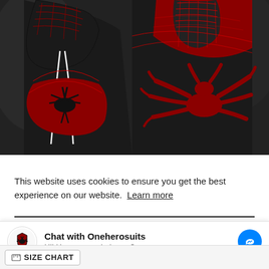[Figure (photo): Two Spider-Man (Miles Morales) hoodies displayed — front and back views. The hoodies are black with red spider-web patterns and a large red spider logo on the chest (front) and back. White drawstrings visible on front hoodie. Background is dark/blurred.]
This website uses cookies to ensure you get the best experience on our website. Learn more
Chat with Oneherosuits
Hi! How can we help you?